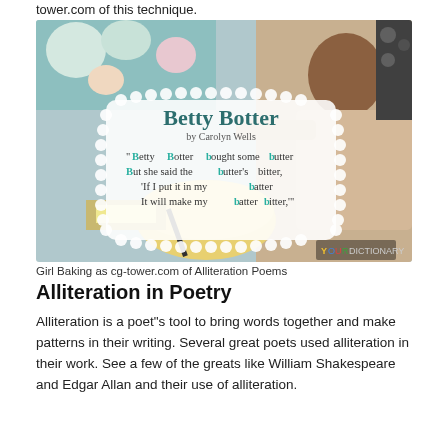tower.com of this technique.
[Figure (photo): Girl baking, with a decorative overlay showing the poem 'Betty Botter' by Carolyn Wells with alliterative b-words highlighted in teal. YourDictionary watermark in bottom right.]
Girl Baking as cg-tower.com of Alliteration Poems
Alliteration in Poetry
Alliteration is a poet"s tool to bring words together and make patterns in their writing. Several great poets used alliteration in their work. See a few of the greats like William Shakespeare and Edgar Allan and their use of alliteration.